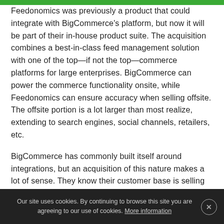Feedonomics was previously a product that could integrate with BigCommerce's platform, but now it will be part of their in-house product suite. The acquisition combines a best-in-class feed management solution with one of the top—if not the top—commerce platforms for large enterprises. BigCommerce can power the commerce functionality onsite, while Feedonomics can ensure accuracy when selling offsite. The offsite portion is a lot larger than most realize, extending to search engines, social channels, retailers, etc.
BigCommerce has commonly built itself around integrations, but an acquisition of this nature makes a lot of sense. They know their customer base is selling
Our site uses cookies. By continuing to browse this site you are agreeing to our use of cookies. More information